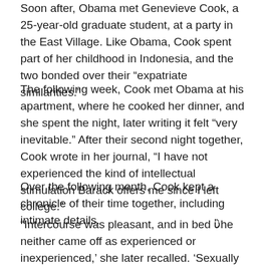Soon after, Obama met Genevieve Cook, a 25-year-old graduate student, at a party in the East Village. Like Obama, Cook spent part of her childhood in Indonesia, and the two bonded over their “expatriate similarities.”
The following week, Cook met Obama at his apartment, where he cooked her dinner, and she spent the night, later writing it felt “very inevitable.” After their second night together, Cook wrote in her journal, “I have not experienced the kind of intellectual stimulation Barack offers me since I left college.”
Over the following month, Cook kept a chronicle of their time together, including intimate details.
“Intercourse was pleasant, and in bed ‘he neither came off as experienced or inexperienced,’ she later recalled. ‘Sexually he really wasn’t very imaginative, but he was comfortable. He was no kind of shrinking ‘Can’t handle it. This is…